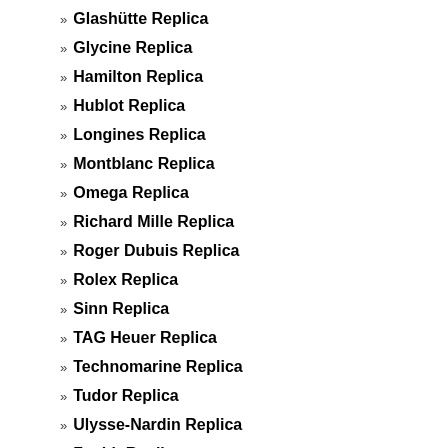» Glashütte Replica
» Glycine Replica
» Hamilton Replica
» Hublot Replica
» Longines Replica
» Montblanc Replica
» Omega Replica
» Richard Mille Replica
» Roger Dubuis Replica
» Rolex Replica
» Sinn Replica
» TAG Heuer Replica
» Technomarine Replica
» Tudor Replica
» Ulysse-Nardin Replica
» Zenith Replica
» Review